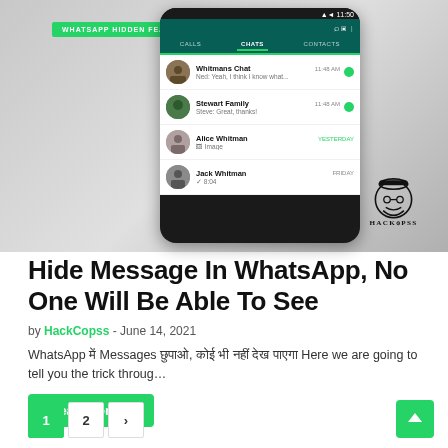[Figure (screenshot): WhatsApp chat list screenshot on a phone mockup with green banner 'WHATSAPP HIDDEN FEATURES IN HINDI' and HackCopss logo]
Hide Message In WhatsApp, No One Will Be Able To See
by HackCopss - June 14, 2021
WhatsApp में Messages छुपाओ, कोई भी नहीं देख पाएगा Here we are going to tell you the trick throug...
Read more →
1  2  >